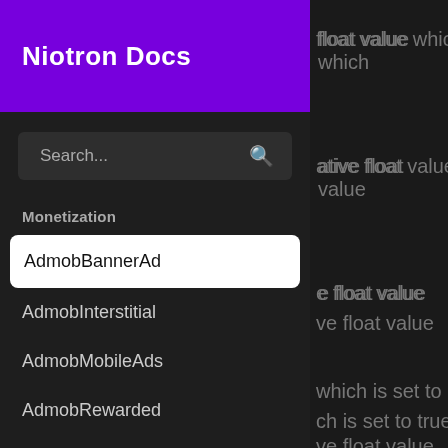Niotron Docs
float value which
ative float value
e float value
ve float value
e float value
which is set to
ch is set to true
Monetization
AdmobBannerAd
AdmobInterstitial
AdmobMobileAds
AdmobRewarded
AdsConsentForm
AppLovinBanner